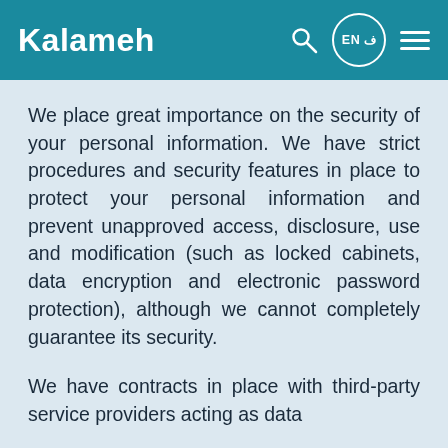Kalameh
We place great importance on the security of your personal information. We have strict procedures and security features in place to protect your personal information and prevent unapproved access, disclosure, use and modification (such as locked cabinets, data encryption and electronic password protection), although we cannot completely guarantee its security.
We have contracts in place with third-party service providers acting as data